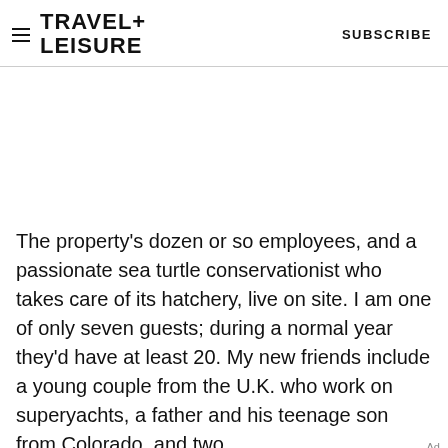TRAVEL+ LEISURE   SUBSCRIBE
The property's dozen or so employees, and a passionate sea turtle conservationist who takes care of its hatchery, live on site. I am one of only seven guests; during a normal year they'd have at least 20. My new friends include a young couple from the U.K. who work on superyachts, a father and his teenage son from Colorado, and two